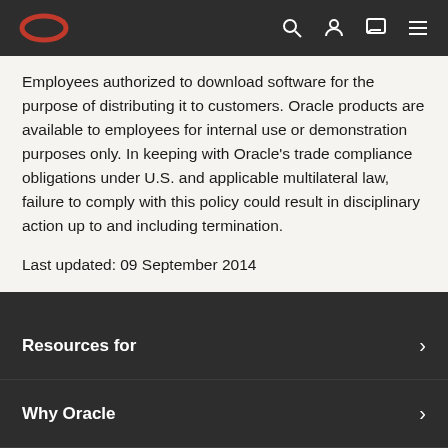Oracle navigation bar with logo and icons
Employees authorized to download software for the purpose of distributing it to customers. Oracle products are available to employees for internal use or demonstration purposes only. In keeping with Oracle's trade compliance obligations under U.S. and applicable multilateral law, failure to comply with this policy could result in disciplinary action up to and including termination.
Last updated: 09 September 2014
Resources for
Why Oracle